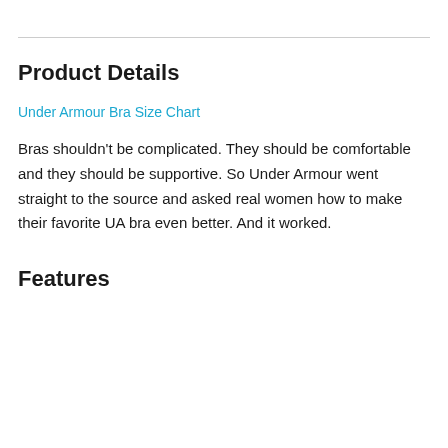Product Details
Under Armour Bra Size Chart
Bras shouldn't be complicated. They should be comfortable and they should be supportive. So Under Armour went straight to the source and asked real women how to make their favorite UA bra even better. And it worked.
Features